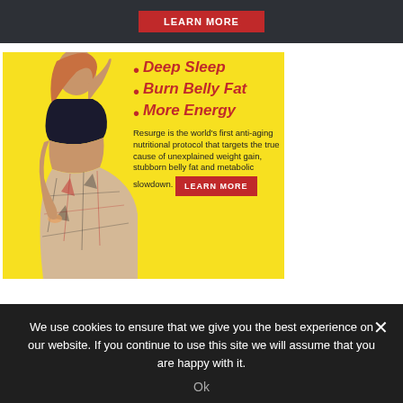[Figure (infographic): Top dark navigation bar with a red LEARN MORE button]
[Figure (infographic): Advertisement banner with yellow background showing a woman in a black bra top and patterned skirt. Bold red italic text bullets: Deep Sleep, Burn Belly Fat, More Energy. Body text: Resurge is the world's first anti-aging nutritional protocol that targets the true cause of unexplained weight gain, stubborn belly fat and metabolic slowdown. Red LEARN MORE button.]
We use cookies to ensure that we give you the best experience on our website. If you continue to use this site we will assume that you are happy with it.
Ok